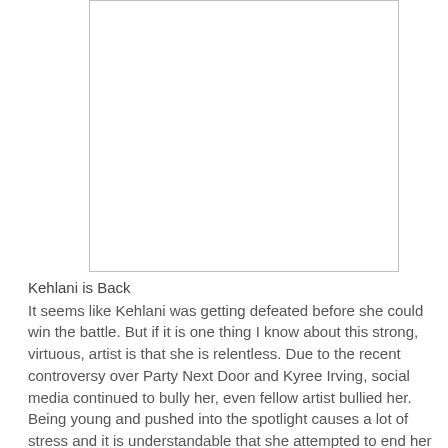[Figure (photo): A blank white rectangular image placeholder with a light gray border.]
Kehlani is Back
It seems like Kehlani was getting defeated before she could win the battle. But if it is one thing I know about this strong, virtuous, artist is that she is relentless. Due to the recent controversy over Party Next Door and Kyree Irving, social media continued to bully her, even fellow artist bullied her. Being young and pushed into the spotlight causes a lot of stress and it is understandable that she attempted to end her pain. Yet God had other